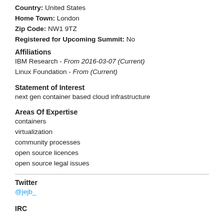Country: United States
Home Town: London
Zip Code: NW1 9TZ
Registered for Upcoming Summit: No
Affiliations
IBM Research - From 2016-03-07 (Current)
Linux Foundation - From (Current)
Statement of Interest
next gen container based cloud infrastructure
Areas Of Expertise
containers
virtualization
community processes
open source licences
open source legal issues
Twitter
@jejb_
IRC